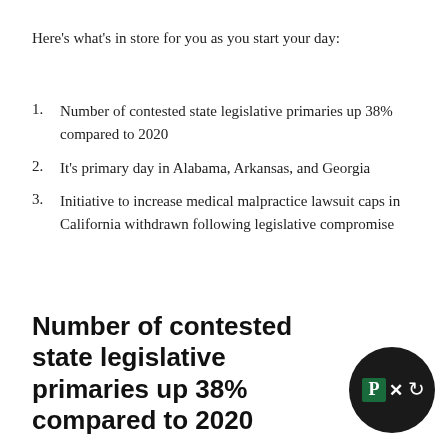Here's what's in store for you as you start your day:
Number of contested state legislative primaries up 38% compared to 2020
It's primary day in Alabama, Arkansas, and Georgia
Initiative to increase medical malpractice lawsuit caps in California withdrawn following legislative compromise
Number of contested state legislative primaries up 38% compared to 2020
[Figure (logo): Politico logo inside a dark circle with P box, X and arrow icons]